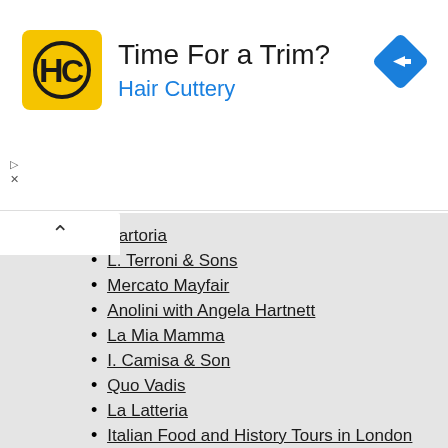[Figure (logo): Hair Cuttery advertisement banner with HC logo in yellow square, text 'Time For a Trim?' and 'Hair Cuttery' in blue, navigation arrow icon top right]
Sartoria
L. Terroni & Sons
Mercato Mayfair
Anolini with Angela Hartnett
La Mia Mamma
I. Camisa & Son
Quo Vadis
La Latteria
Italian Food and History Tours in London
Learn more about Italian London